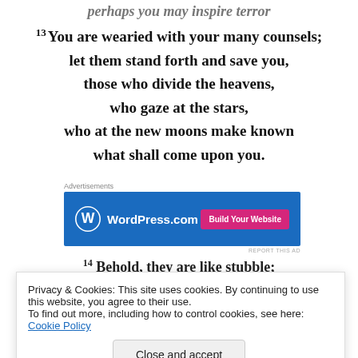perhaps you may inspire terror
13 You are wearied with your many counsels; let them stand forth and save you, those who divide the heavens, who gaze at the stars, who at the new moons make known what shall come upon you.
[Figure (screenshot): WordPress.com advertisement banner with blue background, WordPress logo, and pink 'Build Your Website' button]
14 Behold, they are like stubble;
Privacy & Cookies: This site uses cookies. By continuing to use this website, you agree to their use. To find out more, including how to control cookies, see here: Cookie Policy
Close and accept